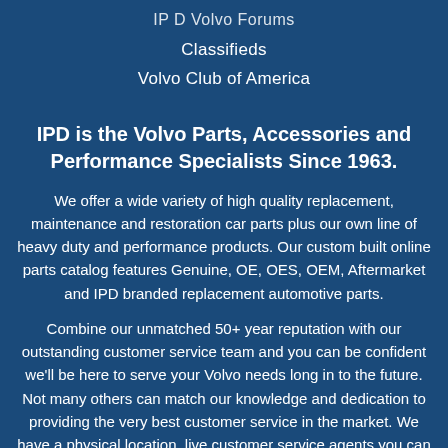IP D Volvo Forums
Classifieds
Volvo Club of America
IPD is the Volvo Parts, Accessories and Performance Specialists Since 1963.
We offer a wide variety of high quality replacement, maintenance and restoration car parts plus our own line of heavy duty and performance products. Our custom built online parts catalog features Genuine, OE, OES, OEM, Aftermarket and IPD branded replacement automotive parts.
Combine our unmatched 50+ year reputation with our outstanding customer service team and you can be confident we'll be here to serve your Volvo needs long in to the future. Not many others can match our knowledge and dedication to providing the very best customer service in the market. We have a physical location, live customer service agents you can call and extensive inventory so we can ship products to you.